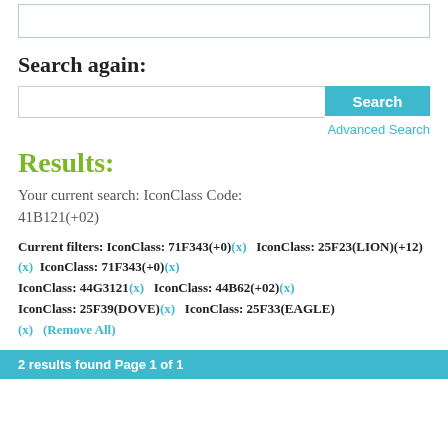[top box / search area partial]
Search again:
[Search input and Search button]
Advanced Search
Results:
Your current search: IconClass Code: 41B121(+02)
Current filters: IconClass: 71F343(+0)(x)   IconClass: 25F23(LION)(+12)(x)   IconClass: 71F343(+0)(x)   IconClass: 44G3121(x)   IconClass: 44B62(+02)(x)   IconClass: 25F39(DOVE)(x)   IconClass: 25F33(EAGLE) (x)   (Remove All)
2 results found Page 1 of 1